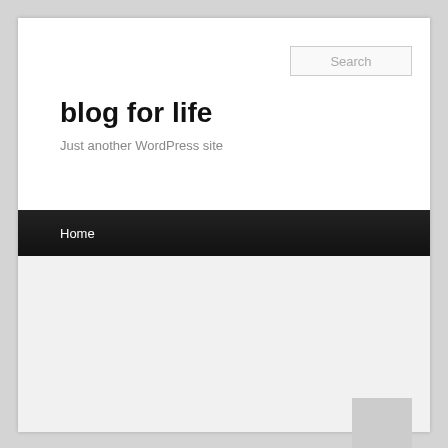Search
blog for life
Just another WordPress site
Home
TAG ARCHIVES: AJ SOLUTIONS PROVIDES UNIQUE & PRECISION SERVICES IN OUR MACHINE SHOP IN FREMONT CA. WE ALSO OFFER OUR INDUSTRY STANDARD PLASTIC FABRICATION. 510-491-7076
AJ Solutions provides